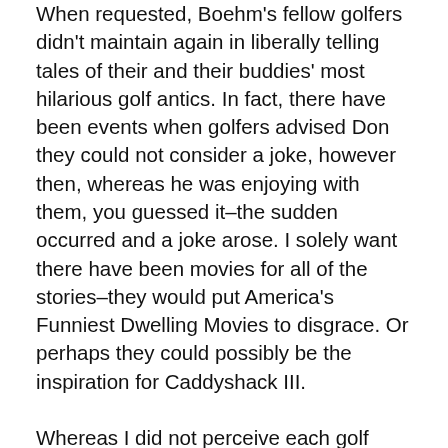When requested, Boehm's fellow golfers didn't maintain again in liberally telling tales of their and their buddies' most hilarious golf antics. In fact, there have been events when golfers advised Don they could not consider a joke, however then, whereas he was enjoying with them, you guessed it–the sudden occurred and a joke arose. I solely want there have been movies for all of the stories–they would put America's Funniest Dwelling Movies to disgrace. Or perhaps they could possibly be the inspiration for Caddyshack III.
Whereas I did not perceive each golf time period, I used to be by no means at a loss for following these tales. Certain, I anticipated to examine some dangerous golf swings and golf balls touchdown in odd locations, however I did not anticipate golf golf equipment that went flying into the Pacific, birds stealing golfers' watches, offended bull elk attacking golf carts, or alligators consuming golf balls. I am unable to say